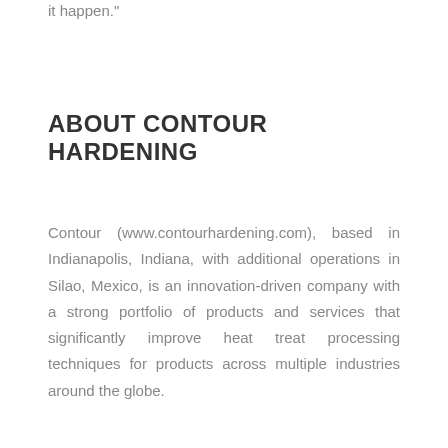it happen."
ABOUT CONTOUR HARDENING
Contour (www.contourhardening.com), based in Indianapolis, Indiana, with additional operations in Silao, Mexico, is an innovation-driven company with a strong portfolio of products and services that significantly improve heat treat processing techniques for products across multiple industries around the globe.